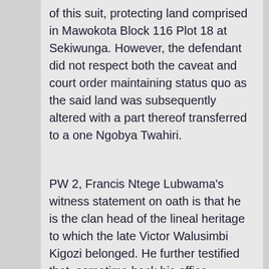of this suit, protecting land comprised in Mawokota Block 116 Plot 18 at Sekiwunga. However, the defendant did not respect both the caveat and court order maintaining status quo as the said land was subsequently altered with a part thereof transferred to a one Ngobya Twahiri.
PW 2, Francis Ntege Lubwama's witness statement on oath is that he is the clan head of the lineal heritage to which the late Victor Walusimbi Kigozi belonged. He further testified that, sometime back his office received complaints from the deceased's children about the defendant's secretive acquisition of Letters of Administration and his subsequent mismanagement of the estate. Clan meetings were thus convened to resolve the complaints